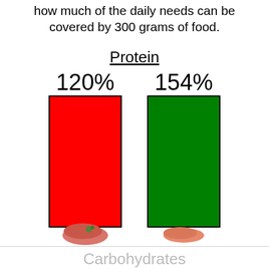how much of the daily needs can be covered by 300 grams of food.
[Figure (bar-chart): Protein]
Carbohydrates